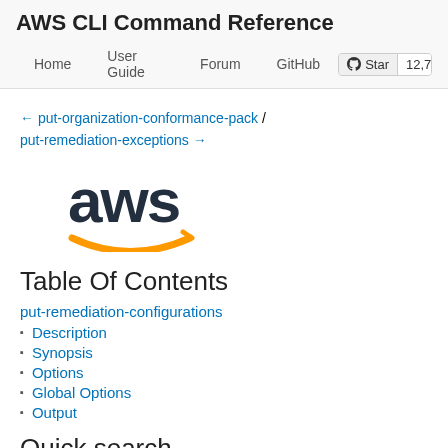AWS CLI Command Reference
Home | User Guide | Forum | GitHub | Star 12,795
← put-organization-conformance-pack / put-remediation-exceptions →
[Figure (logo): AWS logo with orange smile arrow]
Table Of Contents
put-remediation-configurations
Description
Synopsis
Options
Global Options
Output
Quick search